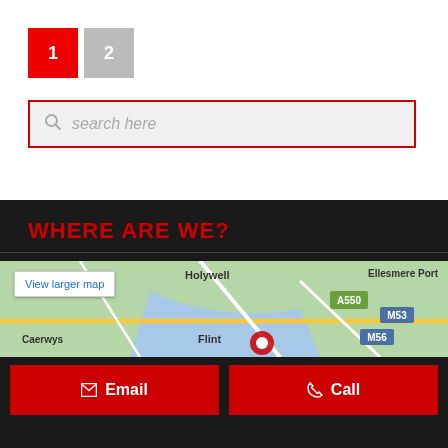1
2
search here
WHERE ARE WE?
[Figure (map): Google Maps showing region including Holywell, Ellesmere Port, A550, M53, M56, Flint, Caerwys with a red location marker]
View larger map
Email
Call